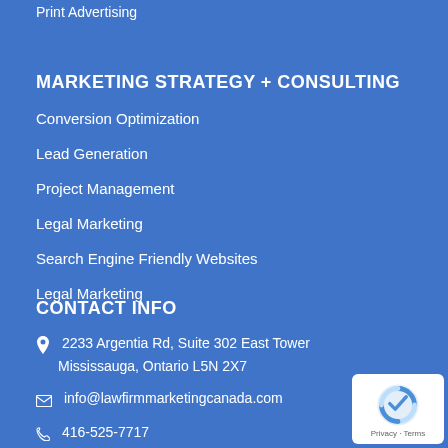Print Advertising
MARKETING STRATEGY + CONSULTING
Conversion Optimization
Lead Generation
Project Management
Legal Marketing
Search Engine Friendly Websites
Legal Marketing
CONTACT INFO
2233 Argentia Rd, Suite 302 East Tower Mississauga, Ontario L5N 2X7
info@lawfirmmarketingcanada.com
416-525-7717